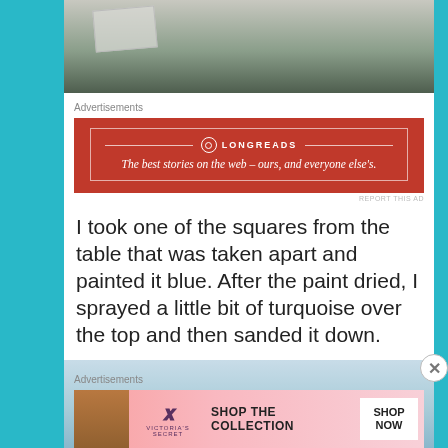[Figure (photo): Partial view of a wooden surface with garden/soil in background, top of page cropped.]
Advertisements
[Figure (other): Longreads advertisement: red banner with white border reading 'LONGREADS — The best stories on the web – ours, and everyone else's.']
I took one of the squares from the table that was taken apart and painted it blue. After the paint dried, I sprayed a little bit of turquoise over the top and then sanded it down.
[Figure (photo): Photo of a light blue painted wooden surface with a dark blue rectangle at the bottom center.]
Advertisements
[Figure (other): Victoria's Secret advertisement with model, logo, and 'SHOP THE COLLECTION / SHOP NOW' button.]